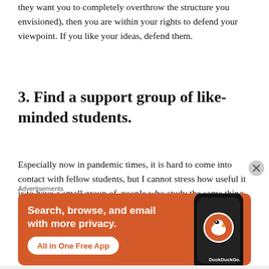they want you to completely overthrow the structure you envisioned), then you are within your rights to defend your viewpoint. If you like your ideas, defend them.
3. Find a support group of like-minded students.
Especially now in pandemic times, it is hard to come into contact with fellow students, but I cannot stress how useful it is to have a small group of people who study the same thing you do. They will have an
[Figure (other): DuckDuckGo advertisement banner with orange background showing 'Search, browse, and email with more privacy. All in One Free App' with a phone mockup displaying the DuckDuckGo logo]